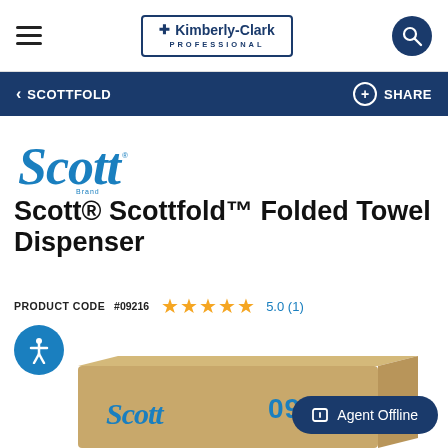Kimberly-Clark Professional
SCOTTFOLD
[Figure (logo): Scott brand cursive logo in blue]
Scott® Scottfold™ Folded Towel Dispenser
PRODUCT CODE  #09216   5.0 (1)
[Figure (photo): Scott 09216 product box partially visible at bottom of page]
Agent Offline